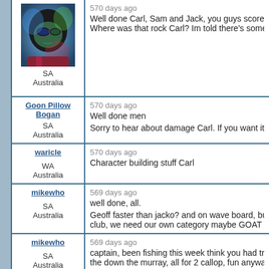[Figure (photo): Avatar photo of a person wearing ski goggles and helmet with colorful lighting]
SA
Australia
570 days ago
Well done Carl, Sam and Jack, you guys scored the
Where was that rock Carl?  Im told there's some on
Goon Pillow Bogan
SA
Australia
570 days ago
Well done men
Sorry to hear about damage Carl. If you want it repa
waricle
WA
Australia
570 days ago
Character building stuff Carl
mikewho
SA
Australia
569 days ago
well done, all.
Geoff faster than jacko? and on wave board, but jac
club, we need our own category maybe GOAT boga
mikewho
SA
Australia
569 days ago
captain, been fishing this week think you had trouble
the down the murray,  all for 2 callop, fun anyway,
Retired Bogan
568 days ago